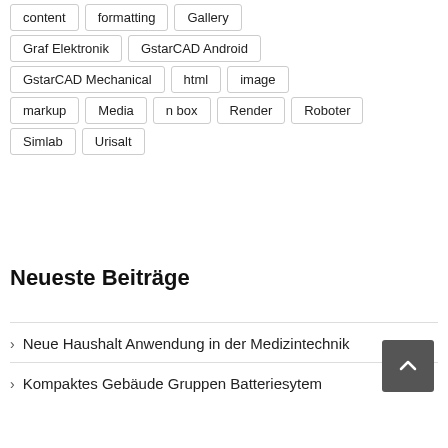content
formatting
Gallery
Graf Elektronik
GstarCAD Android
GstarCAD Mechanical
html
image
markup
Media
n box
Render
Roboter
Simlab
Urisalt
Neueste Beiträge
Neue Haushalt Anwendung in der Medizintechnik
Kompaktes Gebäude Gruppen Batteriesytem